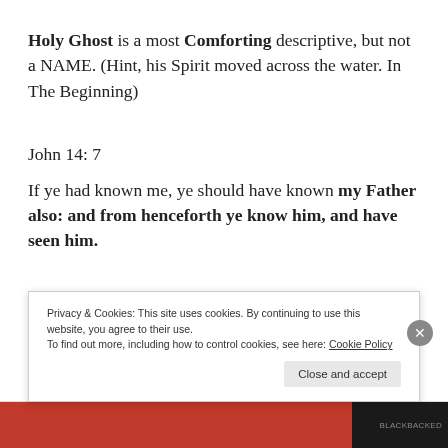Holy Ghost is a most Comforting descriptive, but not a NAME. (Hint, his Spirit moved across the water. In The Beginning)
John 14: 7
If ye had known me, ye should have known my Father also: and from henceforth ye know him, and have seen him.
Privacy & Cookies: This site uses cookies. By continuing to use this website, you agree to their use. To find out more, including how to control cookies, see here: Cookie Policy